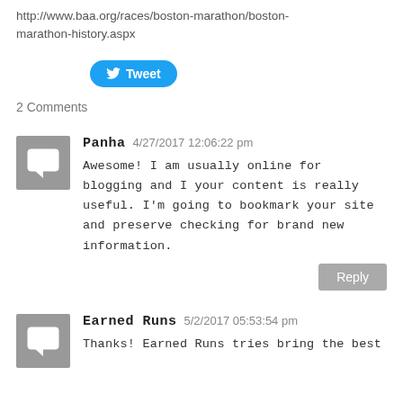http://www.baa.org/races/boston-marathon/boston-marathon-history.aspx
[Figure (other): Twitter Tweet button]
2 Comments
Panha  4/27/2017 12:06:22 pm
Awesome! I am usually online for blogging and I your content is really useful. I'm going to bookmark your site and preserve checking for brand new information.
Earned Runs  5/2/2017 05:53:54 pm
Thanks! Earned Runs tries bring the best